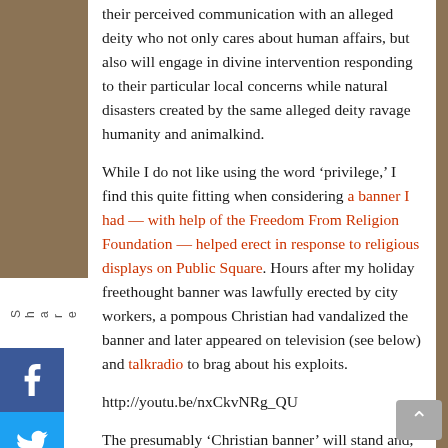their perceived communication with an alleged deity who not only cares about human affairs, but also will engage in divine intervention responding to their particular local concerns while natural disasters created by the same alleged deity ravage humanity and animalkind.
While I do not like using the word ‘privilege,’ I find this quite fitting when considering a banner I had — with help of the Freedom From Religion Foundation — helped erect in response to religious displays on Public Square. Hours after my holiday freethought banner was lawfully erected by city workers, a pompous Christian had vandalized the banner and later appeared on television (see below) and talkradio to brag about his exploits.
http://youtu.be/nxCkvNRg_QU
The presumably ‘Christian banner’ will stand and, rather than vandalizing the banner, I will lawfully and peacefully protest the “Circle the Square With Prayer” event much unlike the Christian who vandalized my banner. See my protest signs